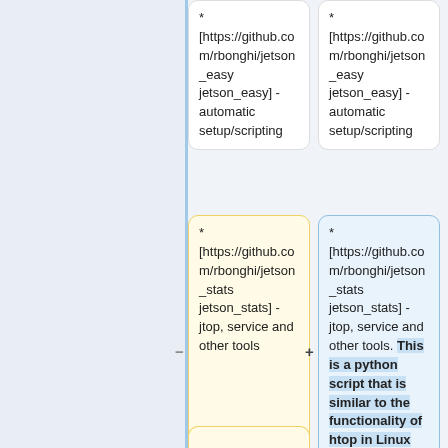* [https://github.com/rbonghi/jetson_easy jetson_easy] - automatic setup/scripting
* [https://github.com/rbonghi/jetson_easy jetson_easy] - automatic setup/scripting
* [https://github.com/rbonghi/jetson_stats jetson_stats] - jtop, service and other tools
* [https://github.com/rbonghi/jetson_stats jetson_stats] - jtop, service and other tools. This is a python script that is similar to the functionality of htop in Linux distributions.